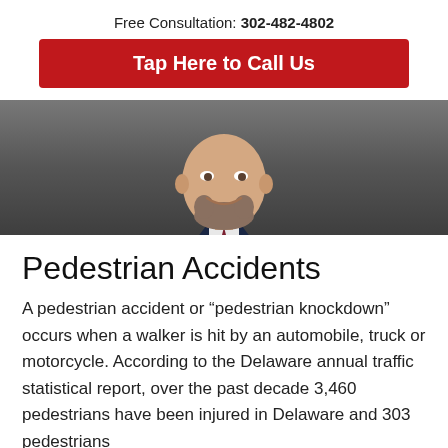Free Consultation: 302-482-4802
Tap Here to Call Us
[Figure (photo): Professional headshot of a bald smiling man with a beard, wearing a dark navy suit and dark tie, against a grey background]
Pedestrian Accidents
A pedestrian accident or “pedestrian knockdown” occurs when a walker is hit by an automobile, truck or motorcycle. According to the Delaware annual traffic statistical report, over the past decade 3,460 pedestrians have been injured in Delaware and 303 pedestrians